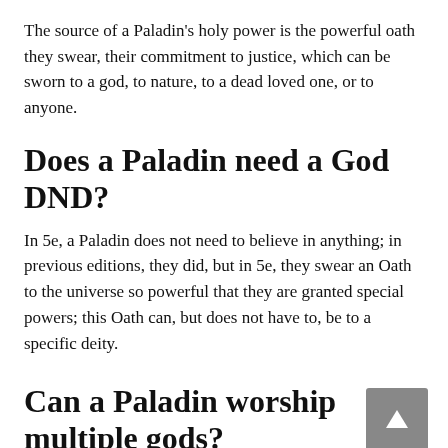The source of a Paladin's holy power is the powerful oath they swear, their commitment to justice, which can be sworn to a god, to nature, to a dead loved one, or to anyone.
Does a Paladin need a God DND?
In 5e, a Paladin does not need to believe in anything; in previous editions, they did, but in 5e, they swear an Oath to the universe so powerful that they are granted special powers; this Oath can, but does not have to, be to a specific deity.
Can a Paladin worship multiple gods?